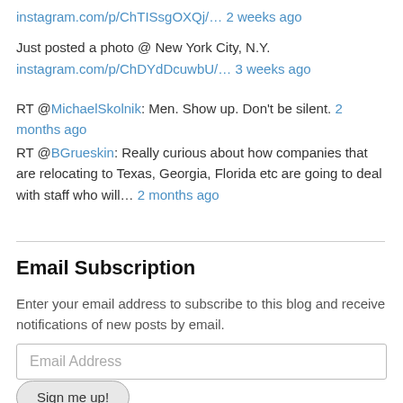instagram.com/p/ChTISsgOXQj/… 2 weeks ago
Just posted a photo @ New York City, N.Y.
instagram.com/p/ChDYdDcuwbU/… 3 weeks ago
RT @MichaelSkolnik: Men. Show up. Don't be silent. 2 months ago
RT @BGrueskin: Really curious about how companies that are relocating to Texas, Georgia, Florida etc are going to deal with staff who will… 2 months ago
Email Subscription
Enter your email address to subscribe to this blog and receive notifications of new posts by email.